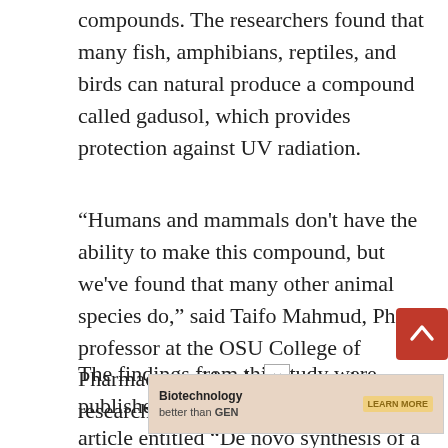compounds. The researchers found that many fish, amphibians, reptiles, and birds can natural produce a compound called gadusol, which provides protection against UV radiation.
“Humans and mammals don't have the ability to make this compound, but we've found that many other animal species do,” said Taifo Mahmud, Ph.D., professor at the OSU College of Pharmacy, and lead author on the research.
The findings from this study were published recently in eLife through an article entitled “De novo synthesis of a sunscreen compound known inete’s”